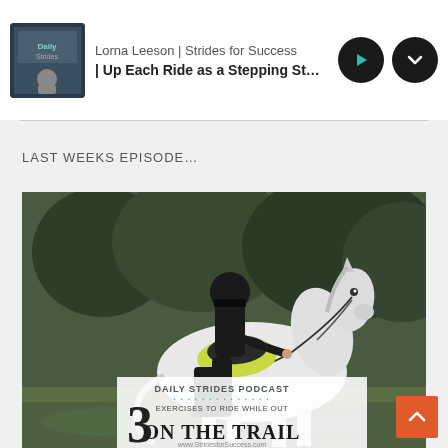Lorna Leeson | Strides for Success — Up Each Ride as a Stepping Stone i
LAST WEEKS EPISODE…
[Figure (photo): Photo of a rider on a white horse outdoors with podcast artwork overlay reading 'Daily Strides Podcast — 3 Exercises to Ride While Out On The Trail — www.StridesforSuccess.com']